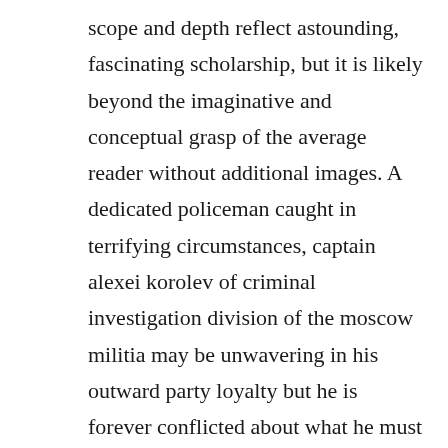scope and depth reflect astounding, fascinating scholarship, but it is likely beyond the imaginative and conceptual grasp of the average reader without additional images. A dedicated policeman caught in terrifying circumstances, captain alexei korolev of criminal investigation division of the moscow militia may be unwavering in his outward party loyalty but he is forever conflicted about what he must do to maintain that good standing.

Rules of civility king county library system